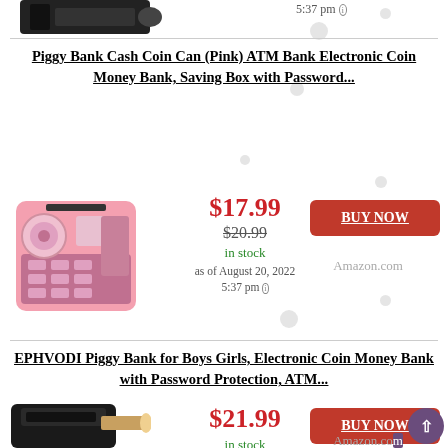[Figure (photo): Partial product image of a black electronic piggy bank/ATM from top of page]
5:37 pm ⓘ
Piggy Bank Cash Coin Can (Pink) ATM Bank Electronic Coin Money Bank, Saving Box with Password...
[Figure (photo): Pink electronic ATM piggy bank with keypad and coin slot]
$17.99
$20.99 (strikethrough)
in stock
as of August 20, 2022 5:37 pm ⓘ
BUY NOW
Amazon.com
EPHVODI Piggy Bank for Boys Girls, Electronic Coin Money Bank with Password Protection, ATM...
[Figure (photo): Black electronic ATM piggy bank being loaded with paper money]
$21.99
in stock
1 used from $16.67
as of August 20, 2022
BUY NOW
Amazon.com